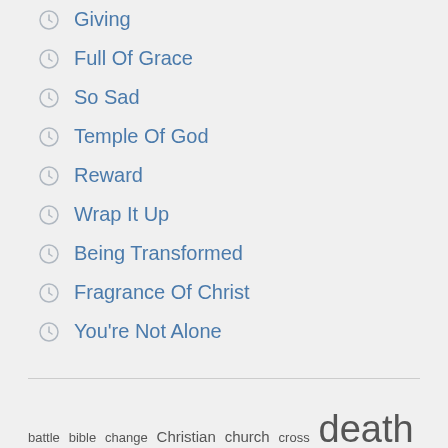Giving
Full Of Grace
So Sad
Temple Of God
Reward
Wrap It Up
Being Transformed
Fragrance Of Christ
You're Not Alone
battle bible change Christian church cross death difficulties example Faith faithful Fear Fellowship